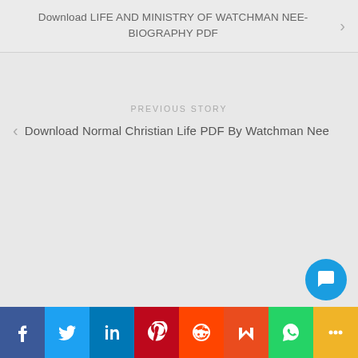Download LIFE AND MINISTRY OF WATCHMAN NEE-BIOGRAPHY PDF
PREVIOUS STORY
Download Normal Christian Life PDF By Watchman Nee
[Figure (infographic): Social media share bar with icons: Facebook, Twitter, LinkedIn, Pinterest, Reddit, Mix, WhatsApp, More]